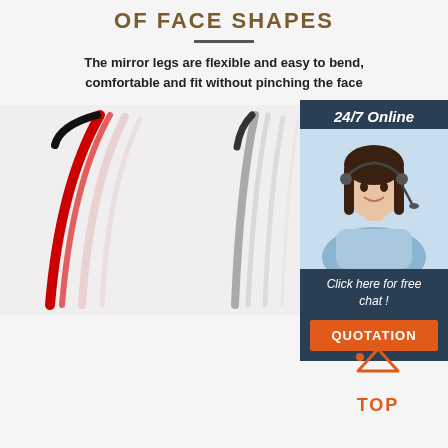OF FACE SHAPES
The mirror legs are flexible and easy to bend, comfortable and fit without pinching the face
[Figure (photo): Two curved mirror/glasses legs shown side by side: one red and black on the left, one silver/grey on the right, against a light background, demonstrating flexibility]
[Figure (infographic): 24/7 Online customer chat widget with a smiling woman wearing a headset, with text 'Click here for free chat!' and an orange QUOTATION button]
[Figure (illustration): Orange 'TOP' button icon with dots forming an arc above the text, indicating a back-to-top navigation element]